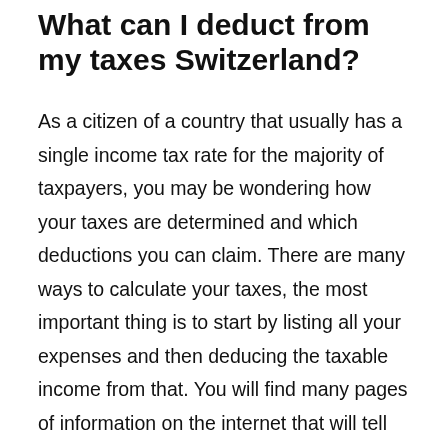What can I deduct from my taxes Switzerland?
As a citizen of a country that usually has a single income tax rate for the majority of taxpayers, you may be wondering how your taxes are determined and which deductions you can claim. There are many ways to calculate your taxes, the most important thing is to start by listing all your expenses and then deducing the taxable income from that. You will find many pages of information on the internet that will tell you how to lower your taxes by locating the right deductions and how to claim them correctly. While all these pages are valuable, you still need to look at the situation and